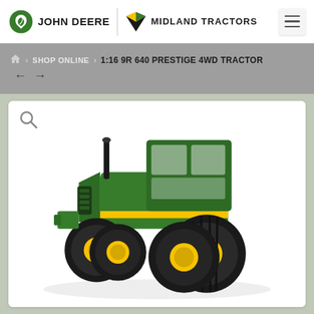John Deere | Midland Tractors
Home > SHOP ONLINE > 1:16 9R 640 PRESTIGE 4WD TRACTOR
[Figure (photo): 1:16 scale model of John Deere 9R 640 Prestige 4WD tractor with green body, yellow wheels, and dual tires on all four axles, photographed on white background]